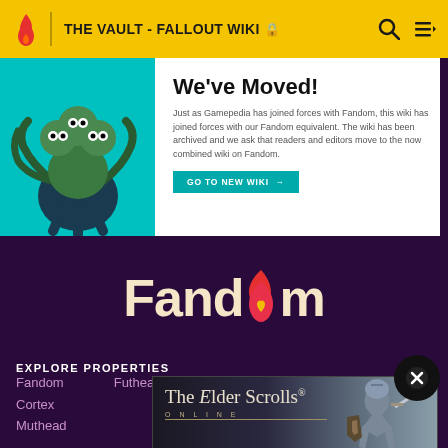THE VAULT - FALLOUT WIKI
[Figure (screenshot): We've Moved! banner with teal background showing a mutant creature illustration on left, and text on right: 'We've Moved! Just as Gamepedia has joined forces with Fandom, this wiki has joined forces with our Fandom equivalent. The wiki has been archived and we ask that readers and editors move to the now combined wiki on Fandom.' with a 'GO TO NEW WIKI →' button]
[Figure (logo): Fandom logo in cream/beige color with flame icon replacing the 'o' and a heart shape, on dark purple background]
EXPLORE PROPERTIES
Fandom
Cortex
Muthead
[Figure (screenshot): The Elder Scrolls Online advertisement banner showing title text and a knight character, with '© 2022 BETHESDA SOFTWORKS LLC.' copyright notice]